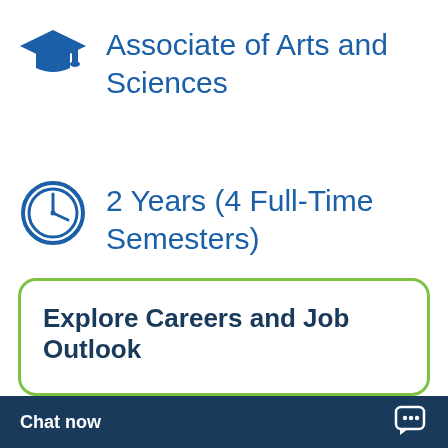Associate of Arts and Sciences
2 Years (4 Full-Time Semesters)
Explore Careers and Job Outlook
Chat now